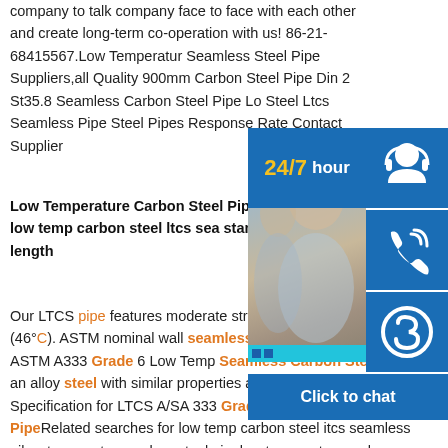company to talk company face to face with each other and create long-term co-operation with us! 86-21-68415567.Low Temperatur Seamless Steel Pipe Suppliers,all Quality 900mm Carbon Steel Pipe Din 2 St35.8 Seamless Carbon Steel Pipe Lo Steel Ltcs Seamless Pipe Steel Pipes Response Rate Contact Supplier
Low Temperature Carbon Steel Pipe Pipe low temp carbon steel ltcs sea standard length
Our LTCS pipe features moderate stre toughness down to 50°F (46°C). ASTM nominal wall seamless and welded carbon pipe. ASTM A333 Grade 6 Low Temp Seamless Carbon Steel Pipe is an alloy steel with similar properties as AISI 4032 steel. Standard Specification for LTCS A/SA 333 Grade 1/6 Seamless PipeRelated searches for low temp carbon steel itcs seamless pilow temperature carbon steel pipelow temperature carbon steelcarbon steel pipe
[Figure (photo): Customer service representatives (man and woman) with headsets, smiling, at a call center]
[Figure (infographic): 24/7 hour blue widget with headset icon, phone icon, and Skype icon stacked vertically on the right side. Click to chat bar at bottom.]